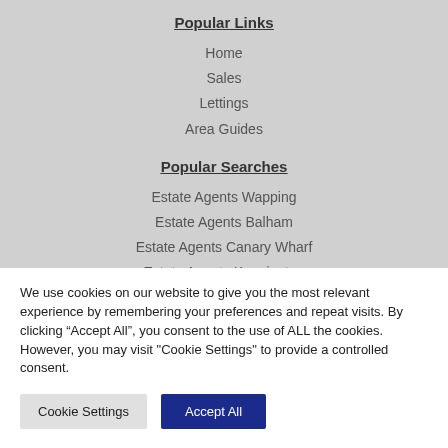Popular Links
Home
Sales
Lettings
Area Guides
Popular Searches
Estate Agents Wapping
Estate Agents Balham
Estate Agents Canary Wharf
Estate Agents Kennington
Estate Agents Hackney
We use cookies on our website to give you the most relevant experience by remembering your preferences and repeat visits. By clicking “Accept All”, you consent to the use of ALL the cookies. However, you may visit "Cookie Settings" to provide a controlled consent.
Cookie Settings
Accept All